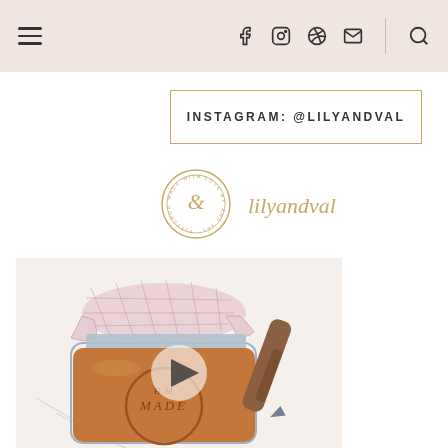Navigation bar with hamburger menu, social icons (Facebook, Instagram, Pinterest, Email), and Search
INSTAGRAM: @LILYANDVAL
[Figure (logo): Lily and Val circular badge logo with ampersand]
lilyandval
[Figure (photo): Close-up illustration of a mason jar with pink gingham fabric lid and honey/jam interior with MADE label, a stylus/pencil coloring it, video play button overlay]